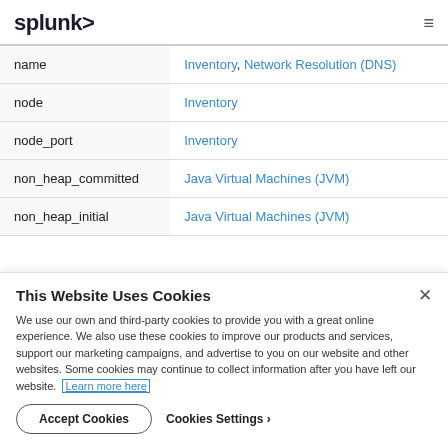splunk> ☰
| Field | Data Model |
| --- | --- |
| name | Inventory, Network Resolution (DNS) |
| node | Inventory |
| node_port | Inventory |
| non_heap_committed | Java Virtual Machines (JVM) |
| non_heap_initial | Java Virtual Machines (JVM) |
This Website Uses Cookies
We use our own and third-party cookies to provide you with a great online experience. We also use these cookies to improve our products and services, support our marketing campaigns, and advertise to you on our website and other websites. Some cookies may continue to collect information after you have left our website. Learn more here
Accept Cookies   Cookies Settings ›